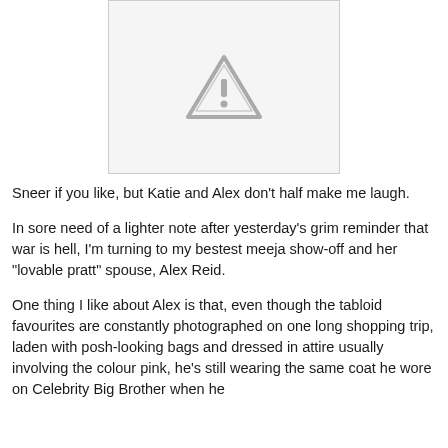[Figure (other): Placeholder image with a warning/caution triangle icon on a light grey background, bordered by a thin grey rectangle]
Sneer if you like, but Katie and Alex don't half make me laugh.
In sore need of a lighter note after yesterday's grim reminder that war is hell, I'm turning to my bestest meeja show-off and her "lovable pratt" spouse, Alex Reid.
One thing I like about Alex is that, even though the tabloid favourites are constantly photographed on one long shopping trip, laden with posh-looking bags and dressed in attire usually involving the colour pink, he's still wearing the same coat he wore on Celebrity Big Brother when he